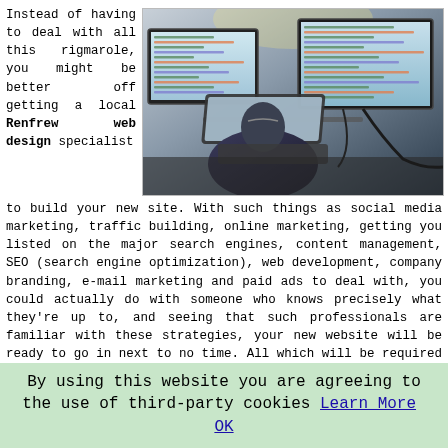Instead of having to deal with all this rigmarole, you might be better off getting a local Renfrew web design specialist
[Figure (photo): Person sitting at a desk with multiple computer monitors displaying code, working on a laptop in a dark office environment.]
to build your new site. With such things as social media marketing, traffic building, online marketing, getting you listed on the major search engines, content management, SEO (search engine optimization), web development, company branding, e-mail marketing and paid ads to deal with, you could actually do with someone who knows precisely what they're up to, and seeing that such professionals are familiar with these strategies, your new website will be ready to go in next to no time. All which will be required of you is to provide your contact information, supply a handful of photographs, write some engaging text and you'll
By using this website you are agreeing to the use of third-party cookies Learn More OK